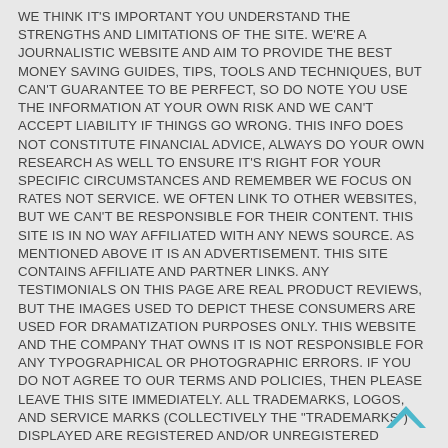WE THINK IT'S IMPORTANT YOU UNDERSTAND THE STRENGTHS AND LIMITATIONS OF THE SITE. WE'RE A JOURNALISTIC WEBSITE AND AIM TO PROVIDE THE BEST MONEY SAVING GUIDES, TIPS, TOOLS AND TECHNIQUES, BUT CAN'T GUARANTEE TO BE PERFECT, SO DO NOTE YOU USE THE INFORMATION AT YOUR OWN RISK AND WE CAN'T ACCEPT LIABILITY IF THINGS GO WRONG. THIS INFO DOES NOT CONSTITUTE FINANCIAL ADVICE, ALWAYS DO YOUR OWN RESEARCH AS WELL TO ENSURE IT'S RIGHT FOR YOUR SPECIFIC CIRCUMSTANCES AND REMEMBER WE FOCUS ON RATES NOT SERVICE. WE OFTEN LINK TO OTHER WEBSITES, BUT WE CAN'T BE RESPONSIBLE FOR THEIR CONTENT. THIS SITE IS IN NO WAY AFFILIATED WITH ANY NEWS SOURCE. AS MENTIONED ABOVE IT IS AN ADVERTISEMENT. THIS SITE CONTAINS AFFILIATE AND PARTNER LINKS. ANY TESTIMONIALS ON THIS PAGE ARE REAL PRODUCT REVIEWS, BUT THE IMAGES USED TO DEPICT THESE CONSUMERS ARE USED FOR DRAMATIZATION PURPOSES ONLY. THIS WEBSITE AND THE COMPANY THAT OWNS IT IS NOT RESPONSIBLE FOR ANY TYPOGRAPHICAL OR PHOTOGRAPHIC ERRORS. IF YOU DO NOT AGREE TO OUR TERMS AND POLICIES, THEN PLEASE LEAVE THIS SITE IMMEDIATELY. ALL TRADEMARKS, LOGOS, AND SERVICE MARKS (COLLECTIVELY THE "TRADEMARKS") DISPLAYED ARE REGISTERED AND/OR UNREGISTERED TRADEMARKS OF THEIR RESPECTIVE OWNERS. CONTENTS OF THIS WEBSITE ARE COPYRIGHTED PROPERTY OF THE REVIEWER AND/OR THIS WEBSITE.